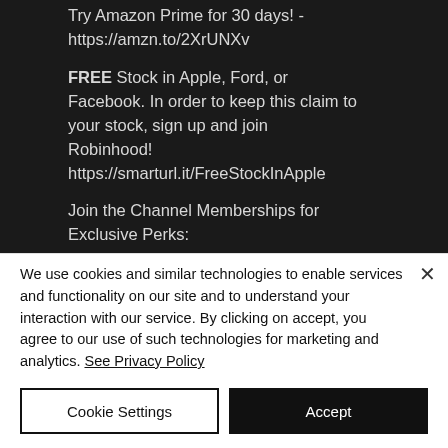[Figure (screenshot): Dark background screenshot of a YouTube video description showing promotional text including Amazon Prime, Robinhood free stock, and Channel Memberships links.]
We use cookies and similar technologies to enable services and functionality on our site and to understand your interaction with our service. By clicking on accept, you agree to our use of such technologies for marketing and analytics. See Privacy Policy